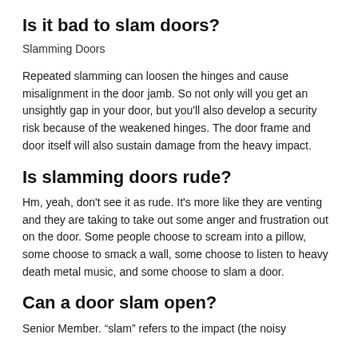Is it bad to slam doors?
Slamming Doors
Repeated slamming can loosen the hinges and cause misalignment in the door jamb. So not only will you get an unsightly gap in your door, but you'll also develop a security risk because of the weakened hinges. The door frame and door itself will also sustain damage from the heavy impact.
Is slamming doors rude?
Hm, yeah, don't see it as rude. It's more like they are venting and they are taking to take out some anger and frustration out on the door. Some people choose to scream into a pillow, some choose to smack a wall, some choose to listen to heavy death metal music, and some choose to slam a door.
Can a door slam open?
Senior Member. “slam” refers to the impact (the noisy